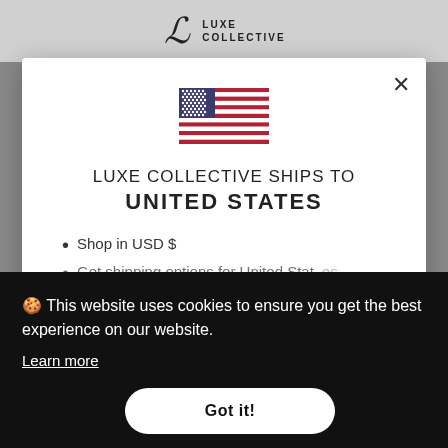[Figure (logo): Luxe Collective logo with stylized LC monogram and text]
[Figure (illustration): US flag SVG illustration inside modal]
LUXE COLLECTIVE SHIPS TO UNITED STATES
Shop in USD $
Get shipping options for United States
🍪 This website uses cookies to ensure you get the best experience on our website.
Learn more
Got it!
Get My Discount!